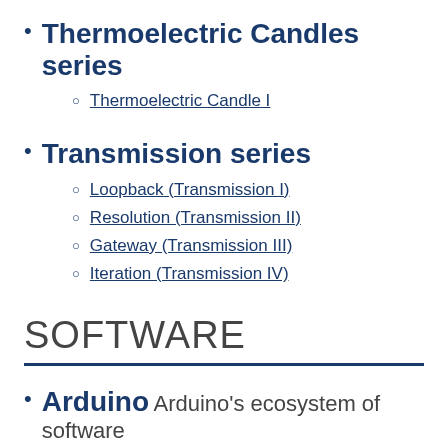Thermoelectric Candles series
Thermoelectric Candle I
Transmission series
Loopback (Transmission I)
Resolution (Transmission II)
Gateway (Transmission III)
Iteration (Transmission IV)
SOFTWARE
Arduino Arduino's ecosystem of software
to its flexible and well-documented wide